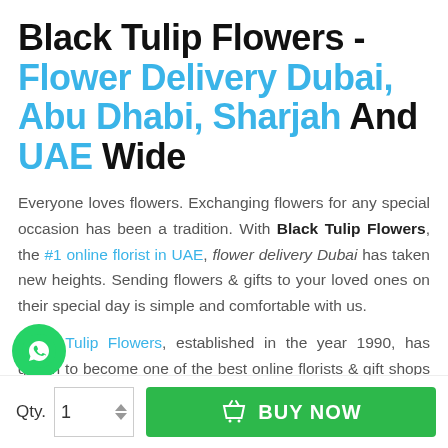Black Tulip Flowers - Flower Delivery Dubai, Abu Dhabi, Sharjah And UAE Wide
Everyone loves flowers. Exchanging flowers for any special occasion has been a tradition. With Black Tulip Flowers, the #1 online florist in UAE, flower delivery Dubai has taken new heights. Sending flowers & gifts to your loved ones on their special day is simple and comfortable with us.
Black Tulip Flowers, established in the year 1990, has grown to become one of the best online florists & gift shops in UAE. It's the lo... passion for fresh flowers, innovative gift ideas, and floral ...